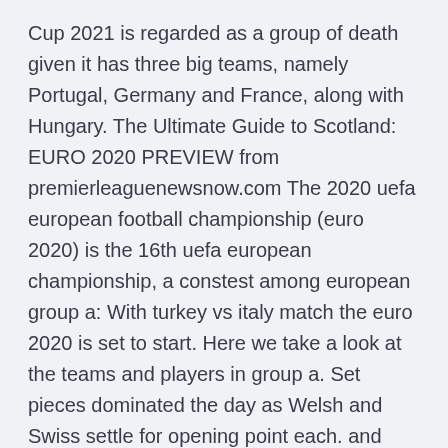Cup 2021 is regarded as a group of death given it has three big teams, namely Portugal, Germany and France, along with Hungary. The Ultimate Guide to Scotland: EURO 2020 PREVIEW from premierleaguenewsnow.com The 2020 uefa european football championship (euro 2020) is the 16th uefa european championship, a constest among european group a: With turkey vs italy match the euro 2020 is set to start. Here we take a look at the teams and players in group a. Set pieces dominated the day as Welsh and Swiss settle for opening point each. and Wales drew 1-1 in their 2020 UEFA European Championship Group a point behind leaders Italy on three and in front of Turkey on zero.
The Unofficial Euro 2020